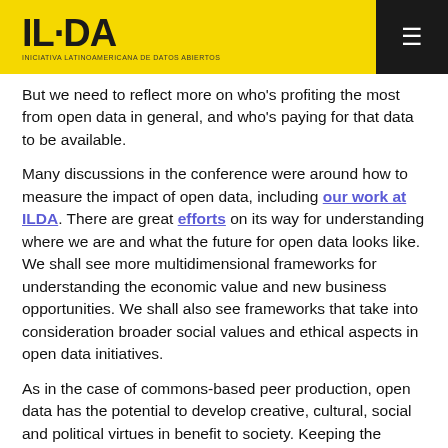ILDA
But we need to reflect more on who's profiting the most from open data in general, and who's paying for that data to be available.
Many discussions in the conference were around how to measure the impact of open data, including our work at ILDA. There are great efforts on its way for understanding where we are and what the future for open data looks like. We shall see more multidimensional frameworks for understanding the economic value and new business opportunities. We shall also see frameworks that take into consideration broader social values and ethical aspects in open data initiatives.
As in the case of commons-based peer production, open data has the potential to develop creative, cultural, social and political virtues in benefit to society. Keeping the debate alive and accumulating evidence to sorting out the challenges will enhance the virtuous practices and value generation that open data is bringing to various sphere of social life.